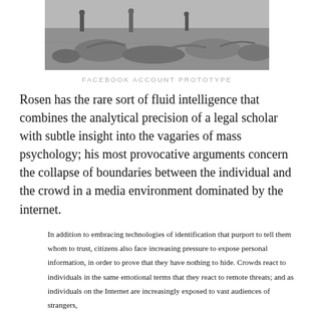[Figure (photo): Black and white photograph showing dead or resting animals (sheep/birds) on the ground, with figures visible in the background.]
FACEBOOK ACCOUNT PROTOTYPE
Rosen has the rare sort of fluid intelligence that combines the analytical precision of a legal scholar with subtle insight into the vagaries of mass psychology; his most provocative arguments concern the collapse of boundaries between the individual and the crowd in a media environment dominated by the internet.
In addition to embracing technologies of identification that purport to tell them whom to trust, citizens also face increasing pressure to expose personal information, in order to prove that they have nothing to hide. Crowds react to individuals in the same emotional terms that they react to remote threats; and as individuals on the Internet are increasingly exposed to vast audiences of strangers,